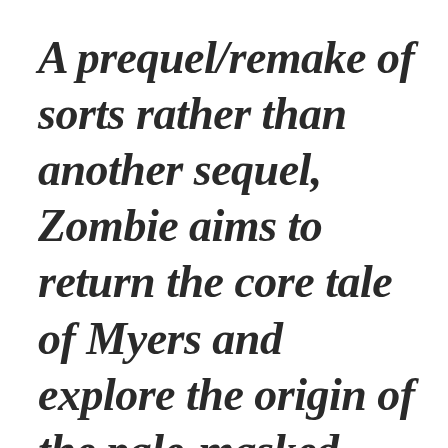A prequel/remake of sorts rather than another sequel, Zombie aims to return the core tale of Myers and explore the origin of the pale-masked man who massacred his family